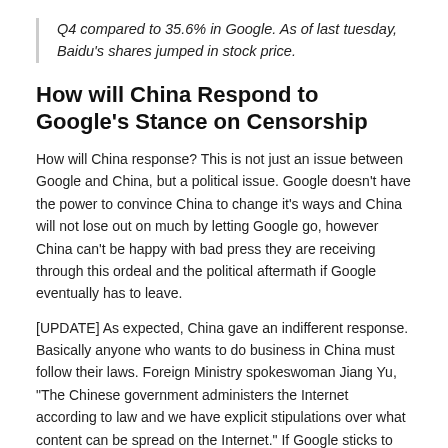Q4 compared to 35.6% in Google. As of last tuesday, Baidu's shares jumped in stock price.
How will China Respond to Google's Stance on Censorship
How will China response? This is not just an issue between Google and China, but a political issue. Google doesn't have the power to convince China to change it's ways and China will not lose out on much by letting Google go, however China can't be happy with bad press they are receiving through this ordeal and the political aftermath if Google eventually has to leave.
[UPDATE] As expected, China gave an indifferent response. Basically anyone who wants to do business in China must follow their laws. Foreign Ministry spokeswoman Jiang Yu, “The Chinese government administers the Internet according to law and we have explicit stipulations over what content can be spread on the Internet.” If Google sticks to their guns, they’ll have to simply move their way out of China. But should they?
What do you think? Will Google have to leave or will there be some